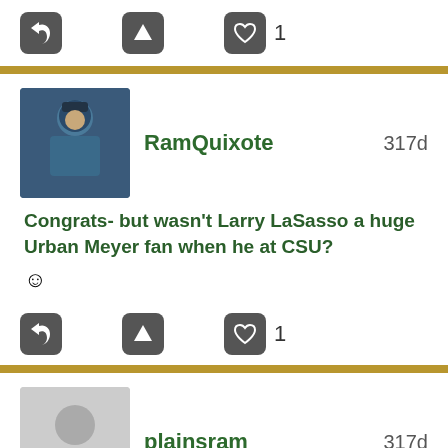[Figure (screenshot): Action bar with reply, upvote, and heart (1 like) buttons]
RamQuixote  317d
Congrats- but wasn't Larry LaSasso a huge Urban Meyer fan when he at CSU?
[Figure (screenshot): Action bar with reply, upvote, and heart (1 like) buttons]
plainsram  317d
Congrats, Big Time! Well deserved, thx for everything u do for CSU! **
[Figure (screenshot): Action bar with reply, upvote, and heart (1 like) buttons]